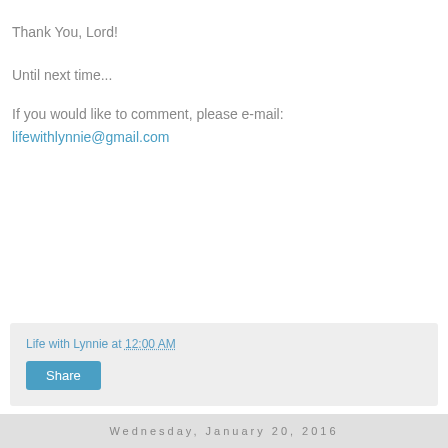Thank You, Lord!
Until next time...
If you would like to comment, please e-mail:
lifewithlynnie@gmail.com
Life with Lynnie at 12:00 AM
Share
Wednesday, January 20, 2016